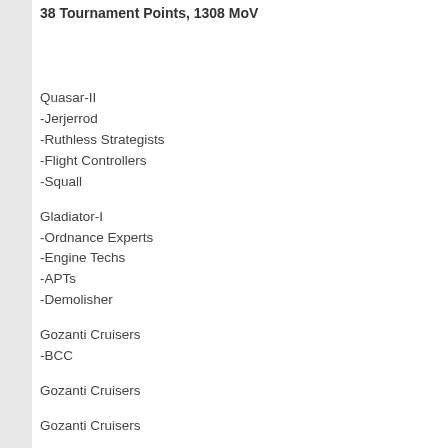38 Tournament Points, 1308 MoV
Quasar-II
-Jerjerrod
-Ruthless Strategists
-Flight Controllers
-Squall
Gladiator-I
-Ordnance Experts
-Engine Techs
-APTs
-Demolisher
Gozanti Cruisers
-BCC
Gozanti Cruisers
Gozanti Cruisers
Maarek